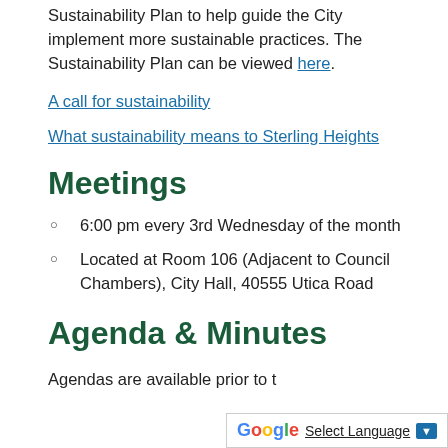Sustainability Plan to help guide the City implement more sustainable practices. The Sustainability Plan can be viewed here.
A call for sustainability
What sustainability means to Sterling Heights
Meetings
6:00 pm every 3rd Wednesday of the month
Located at Room 106 (Adjacent to Council Chambers), City Hall, 40555 Utica Road
Agenda & Minutes
Agendas are available prior to t